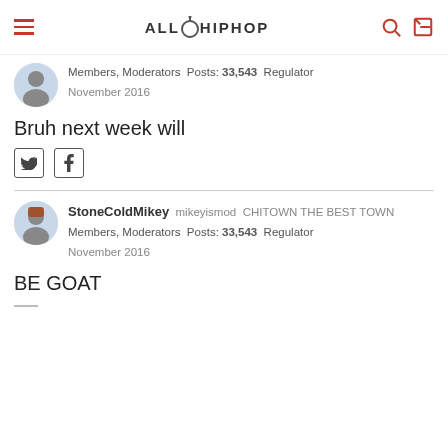ALLHIPHOP
Members, Moderators  Posts: 33,543  Regulator
November 2016
Bruh next week will
[Figure (other): Twitter and Facebook social share icons]
StoneColdMikey  mikeyismod  CHITOWN THE BEST TOWN
Members, Moderators  Posts: 33,543  Regulator
November 2016
BE GOAT